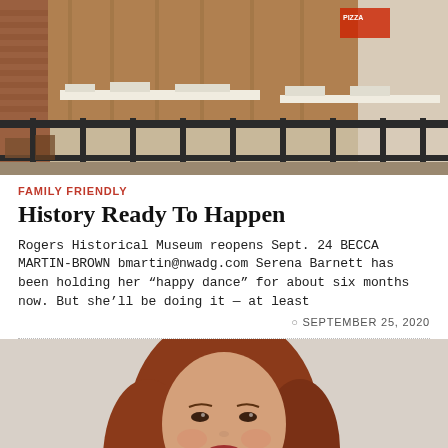[Figure (photo): Interior of Rogers Historical Museum showing exhibit displays, railing fence, museum artifacts and historical items on shelves]
FAMILY FRIENDLY
History Ready To Happen
Rogers Historical Museum reopens Sept. 24 BECCA MARTIN-BROWN bmartin@nwadg.com Serena Barnett has been holding her “happy dance” for about six months now. But she’ll be doing it — at least
SEPTEMBER 25, 2020
[Figure (photo): Portrait photo of a woman with auburn/red hair, smiling slightly, light background]